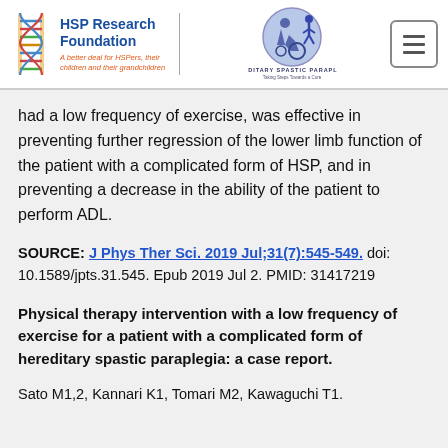[Figure (logo): HSP Research Foundation logo with DNA double helix icon and tagline 'A better deal for HSPers, their children and their grandchildren', alongside a Hereditary Spastic Paraplegia circular logo with a silhouette of a person in a wheelchair and the text 'Taking Steps Towards a Cure']
had a low frequency of exercise, was effective in preventing further regression of the lower limb function of the patient with a complicated form of HSP, and in preventing a decrease in the ability of the patient to perform ADL.
SOURCE: J Phys Ther Sci. 2019 Jul;31(7):545-549. doi: 10.1589/jpts.31.545. Epub 2019 Jul 2. PMID: 31417219
Physical therapy intervention with a low frequency of exercise for a patient with a complicated form of hereditary spastic paraplegia: a case report.
Sato M1,2, Kannari K1, Tomari M2, Kawaguchi T1.